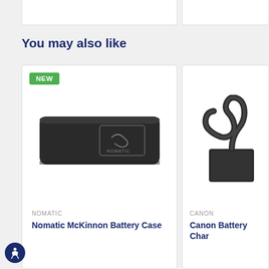You may also like
[Figure (photo): Nomatic McKinnon Battery Case - a slim black rectangular case with a logo panel on a white background]
NOMATIC
Nomatic McKinnon Battery Case
[Figure (photo): Canon Battery Charger with a power cord on a white background]
CANON
Canon Battery Char